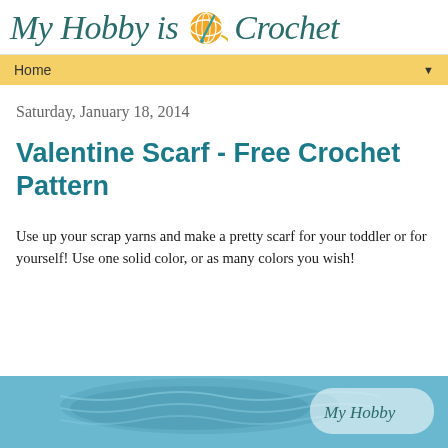My Hobby is Crochet
Home
Saturday, January 18, 2014
Valentine Scarf - Free Crochet Pattern
Use up your scrap yarns and make a pretty scarf for your toddler or for yourself! Use one solid color, or as many colors you wish!
[Figure (photo): Bottom portion of a blog post showing a blue/teal crocheted scarf photo with 'My Hobby' watermark logo overlay]